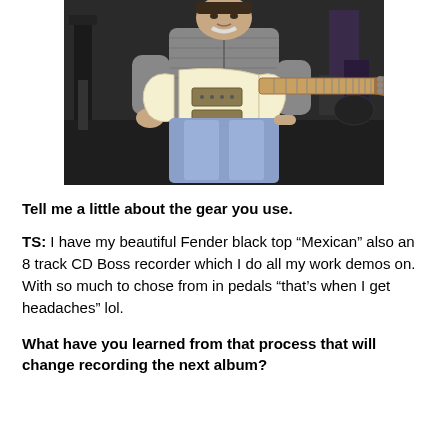[Figure (photo): A man sitting and holding a cream/white electric guitar (resembling a Gibson SG style) in what appears to be a studio or rehearsal space with dark background and some equipment visible.]
Tell me a little about the gear you use.
TS: I have my beautiful Fender black top “Mexican” also an 8 track CD Boss recorder which I do all my work demos on. With so much to chose from in pedals “that’s when I get headaches” lol.
What have you learned from that process that will change recording the next album?